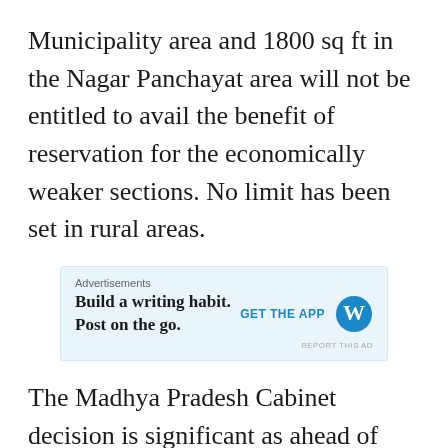Municipality area and 1800 sq ft in the Nagar Panchayat area will not be entitled to avail the benefit of reservation for the economically weaker sections. No limit has been set in rural areas.
[Figure (other): Advertisement banner for WordPress app: 'Build a writing habit. Post on the go.' with GET THE APP call-to-action and WordPress logo]
The Madhya Pradesh Cabinet decision is significant as ahead of parliamentary elections, Modi Cabinet, in its earlier stint, had on 7 January 2019 approved 10 per cent reservation for the economically weaker sections atti